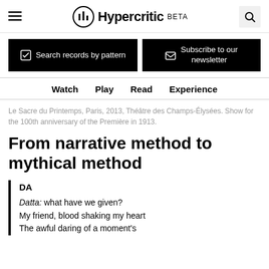Hypercritic BETA
[Figure (logo): Hypercritic logo with circular icon containing bar chart motif, text 'Hypercritic' and 'BETA' label, hamburger menu left, search icon right]
Search records by pattern
Subscribe to our newsletter
Watch  Play  Read  Experience
Le Sacre du Printemps, Paris, 2013, Théâtre des Champs-Élysées. Show for the 100th anniversary of the Première in 1913.
From narrative method to mythical method
DA
Datta: what have we given?
My friend, blood shaking my heart
The awful daring of a moment's